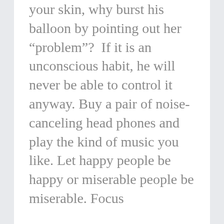your skin, why burst his balloon by pointing out her "problem"?  If it is an unconscious habit, he will never be able to control it anyway. Buy a pair of noise-canceling head phones and play the kind of music you like. Let happy people be happy or miserable people be miserable. Focus